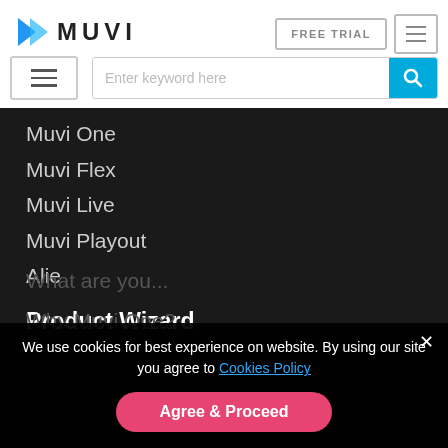[Figure (logo): Muvi logo with blue chevron/arrow icon and MUVI text in bold]
FREE TRIAL
[Figure (other): Hamburger menu icon button (top right)]
[Figure (other): Hamburger menu icon button (left, second bar)]
Enter keyword here
Muvi One
Muvi Flex
Muvi Live
Muvi Playout
Alie
Product Wizard
We use cookies for best experience on website. By using our site you agree to Cookies Policy
Agree & Proceed